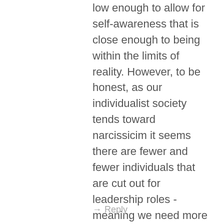low enough to allow for self-awareness that is close enough to being within the limits of reality. However, to be honest, as our individualist society tends toward narcissicim it seems there are fewer and fewer individuals that are cut out for leadership roles - meaning we need more coaching.
→ Reply